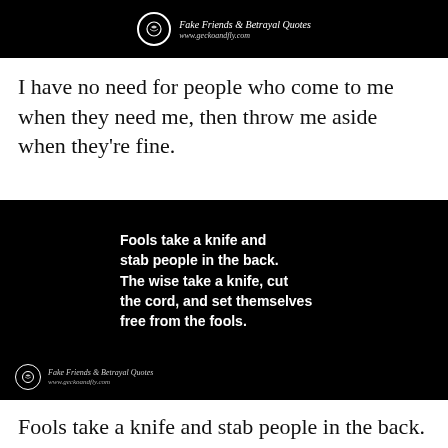[Figure (illustration): Black banner with circular logo icon and italic text 'Fake Friends & Betrayal Quotes' and 'www.geckoandfly.com']
I have no need for people who come to me when they need me, then throw me aside when they're fine.
[Figure (illustration): Black image with white bold text quote: 'Fools take a knife and stab people in the back. The wise take a knife, cut the cord, and set themselves free from the fools.' with circular logo and 'Fake Friends & Betrayal Quotes, www.geckoandfly.com' at bottom left]
Fools take a knife and stab people in the back.